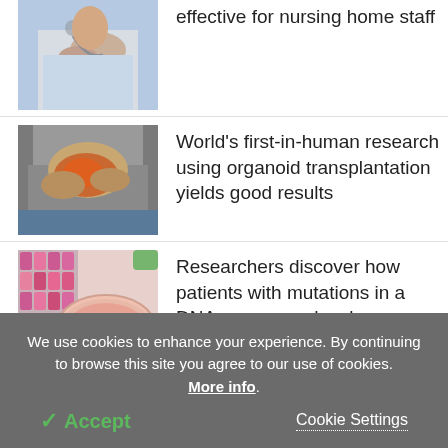[Figure (photo): Nurse or healthcare worker in white coat, hand/arm visible, stethoscope, partial upper body view]
effective for nursing home staff
[Figure (photo): Person holding abdomen/stomach area with both hands, highlighted in red/orange, suggesting abdominal pain]
World's first-in-human research using organoid transplantation yields good results
[Figure (photo): Laboratory petri dishes with pink/red liquid culture media, colorful pipette tips in background]
Researchers discover how patients with mutations in a DNA sequence develop pancreatic malformations
We use cookies to enhance your experience. By continuing to browse this site you agree to our use of cookies. More info.